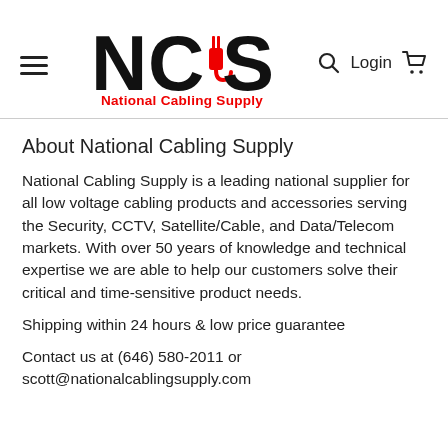[Figure (logo): NCS National Cabling Supply logo with red and black lettering and a red cable plug icon]
About National Cabling Supply
National Cabling Supply is a leading national supplier for all low voltage cabling products and accessories serving the Security, CCTV, Satellite/Cable, and Data/Telecom markets. With over 50 years of knowledge and technical expertise we are able to help our customers solve their critical and time-sensitive product needs.
Shipping within 24 hours & low price guarantee
Contact us at (646) 580-2011 or scott@nationalcablingsupply.com